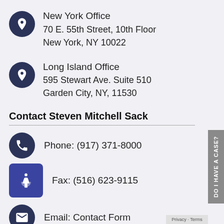New York Office
70 E. 55th Street, 10th Floor
New York, NY 10022
Long Island Office
595 Stewart Ave. Suite 510
Garden City, NY, 11530
Contact Steven Mitchell Sack
Phone: (917) 371-8000
Fax: (516) 623-9115
Email: Contact Form
DO I HAVE A CASE?
Privacy · Terms